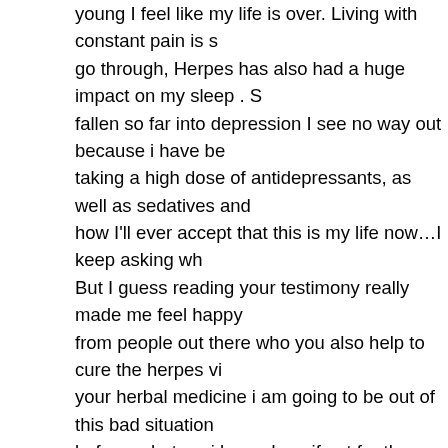young I feel like my life is over. Living with constant pain is something i go through, Herpes has also had a huge impact on my sleep . S fallen so far into depression I see no way out because i have be taking a high dose of antidepressants, as well as sedatives and how I'll ever accept that this is my life now…I keep asking wh But I guess reading your testimony really made me feel happy from people out there who you also help to cure the herpes vi your herbal medicine i am going to be out of this bad situation before, what we i have done if not for the herbal medicine tha flush out the bad virus that was making me go crazy. people ou man called DR DRMUSA i will advice you to email him direc herpes etc. drmusa6119@gmail.com or whatsapp him +23490
December 2, 2019 at 06:55 | Report abuse | Reply
16. acheter cialis site sécurisé
Tosto che È superfluo. https://www.cialis20.fr
December 6, 2019 at 05:15 | Report abuse | Reply
17. acheter cialis générique en europe
Il n'est pire eau que celle qui dort. https://www.cialis20.fr Man Saunders.
December 6, 2019 at 05:15 | Report abuse | Reply
18. Henry